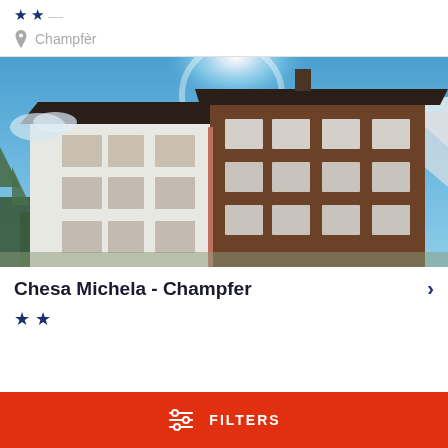★★ ☆ (stars top partial)
Champfèr
[Figure (photo): Exterior photo of a multi-story Alpine building with white stucco and dark wood upper floors, brown shuttered windows, dark roof, set against a blue sky with sun halo and snow-capped mountains in background]
Chesa Michela - Champfer
★★ (two blue stars)
FILTERS